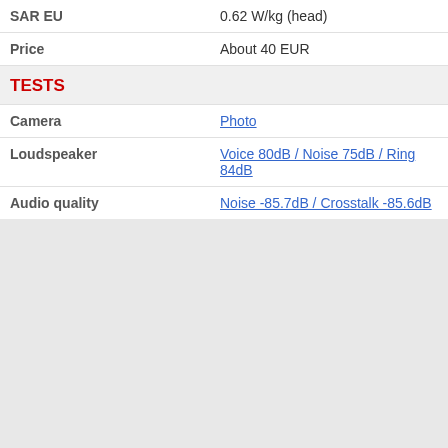| SAR EU | 0.62 W/kg (head) |
| Price | About 40 EUR |
TESTS
| Camera | Photo |
| Loudspeaker | Voice 80dB / Noise 75dB / Ring 84dB |
| Audio quality | Noise -85.7dB / Crosstalk -85.6dB |